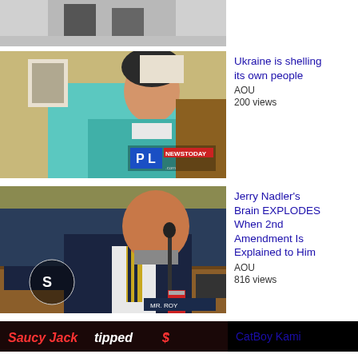[Figure (screenshot): Partially visible video thumbnail at top, dark background with a person's legs]
[Figure (screenshot): Video thumbnail showing a woman in a teal puffer jacket and black beanie speaking, PL NewsToday watermark visible]
Ukraine is shelling its own people
AOU
200 views
[Figure (screenshot): Video thumbnail of a man in a suit with yellow striped tie at a committee hearing, nameplate reads MR. ROY]
Jerry Nadler's Brain EXPLODES When 2nd Amendment Is Explained to Him
AOU
816 views
[Figure (screenshot): Bottom banner with black background showing text: Saucy Jack tipped $]
CatBoy Kami